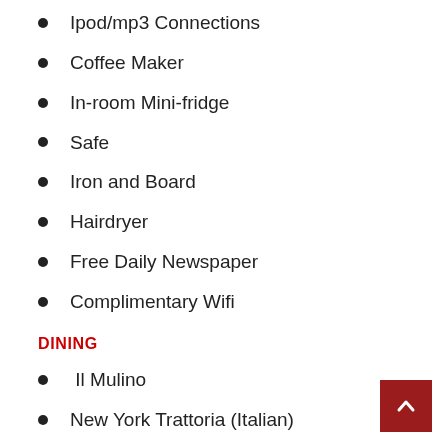Ipod/mp3 Connections
Coffee Maker
In-room Mini-fridge
Safe
Iron and Board
Hairdryer
Free Daily Newspaper
Complimentary Wifi
DINING
Il Mulino
New York Trattoria (Italian)
Todd English's Bluezoo (Seafood)